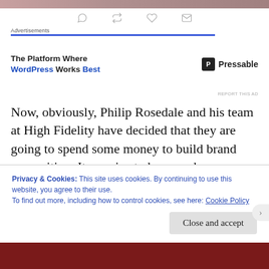[Figure (screenshot): Top strip showing partial social media image banner]
[Figure (screenshot): Twitter action icons row: reply, retweet, like, mail]
Advertisements
[Figure (screenshot): Advertisement banner: 'The Platform Where WordPress Works Best' with Pressable logo]
REPORT THIS AD
Now, obviously, Philip Rosedale and his team at High Fidelity have decided that they are going to spend some money to build brand recognition. It remains to be seen, however, whether this strategy will pay off (pun intended) in the long run. Linden Lab is taking a much more cautious, hands-off approach to promotion—at least, so far (perhaps
Privacy & Cookies: This site uses cookies. By continuing to use this website, you agree to their use.
To find out more, including how to control cookies, see here: Cookie Policy
Close and accept